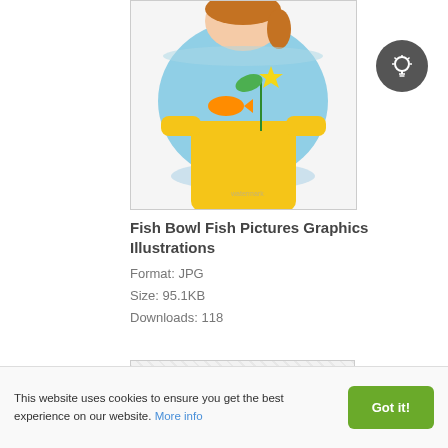[Figure (illustration): Illustration of a girl in a yellow shirt holding a fish bowl with fish and aquatic plants, partially cropped at the top]
Fish Bowl Fish Pictures Graphics Illustrations
Format: JPG
Size: 95.1KB
Downloads: 118
[Figure (illustration): Second image placeholder with a hatched/checkered gray pattern indicating a loading or unavailable image]
This website uses cookies to ensure you get the best experience on our website. More info